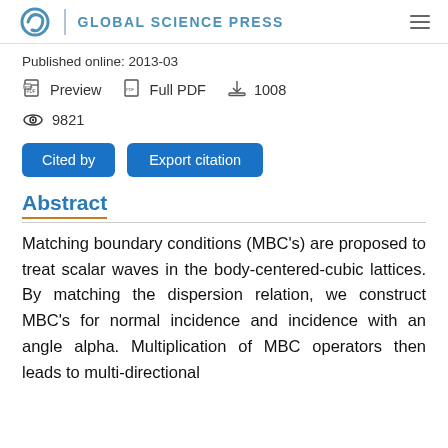GLOBAL SCIENCE PRESS
Published online: 2013-03
Preview   Full PDF   1008
9821
Cited by   Export citation
Abstract
Matching boundary conditions (MBC's) are proposed to treat scalar waves in the body-centered-cubic lattices. By matching the dispersion relation, we construct MBC's for normal incidence and incidence with an angle alpha. Multiplication of MBC operators then leads to multi-directional